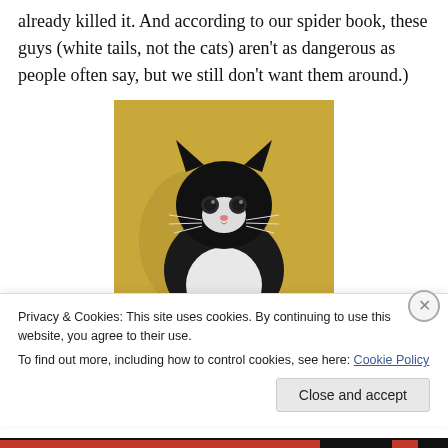already killed it. And according to our spider book, these guys (white tails, not the cats) aren't as dangerous as people often say, but we still don't want them around.)
[Figure (photo): A black and white tuxedo cat sitting upright against a yellow/golden background, looking directly at the camera.]
Privacy & Cookies: This site uses cookies. By continuing to use this website, you agree to their use.
To find out more, including how to control cookies, see here: Cookie Policy